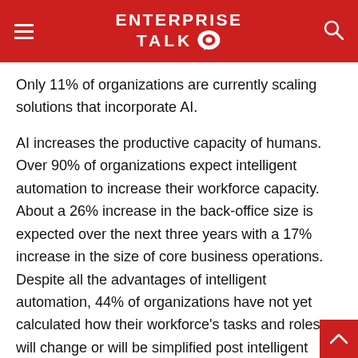ENTERPRISE TALK
Only 11% of organizations are currently scaling solutions that incorporate AI.
AI increases the productive capacity of humans. Over 90% of organizations expect intelligent automation to increase their workforce capacity. About a 26% increase in the back-office size is expected over the next three years with a 17% increase in the size of core business operations. Despite all the advantages of intelligent automation, 44% of organizations have not yet calculated how their workforce's tasks and roles will change or will be simplified post intelligent automation.
Another critical factor is the retraining of the workforce fo